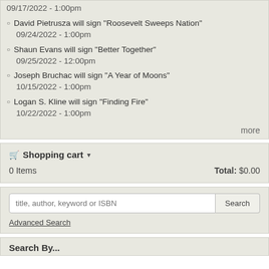09/17/2022 - 1:00pm
David Pietrusza will sign "Roosevelt Sweeps Nation"
09/24/2022 - 1:00pm
Shaun Evans will sign "Better Together"
09/25/2022 - 12:00pm
Joseph Bruchac will sign "A Year of Moons"
10/15/2022 - 1:00pm
Logan S. Kline will sign "Finding Fire"
10/22/2022 - 1:00pm
more
Shopping cart
0 Items	Total: $0.00
title, author, keyword or ISBN
Advanced Search
Search By...